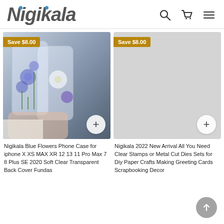Nigikala
[Figure (photo): Nigikala Blue Flowers Phone Cases product photo showing two clear transparent phone cases with blue and white flower designs held in a hand]
Save $8.00
Nigikala Blue Flowers Phone Case for iphone X XS MAX XR 12 13 11 Pro Max 7 8 Plus SE 2020 Soft Clear Transparent Back Cover Fundas
[Figure (photo): Nigikala 2022 New Arrival All You Need Clear Stamps or Metal Cut Dies Sets product image placeholder (gray)]
Save $8.00
Nigikala 2022 New Arrival All You Need Clear Stamps or Metal Cut Dies Sets for Diy Paper Crafts Making Greeting Cards Scrapbooking Decor